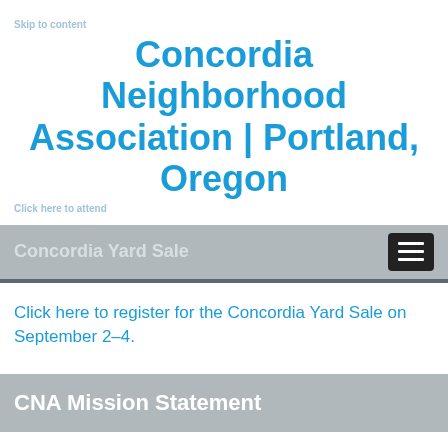Concordia Neighborhood Association | Portland, Oregon
Concordia Yard Sale
Click here to register for the Concordia Yard Sale on September 2–4.
CNA Mission Statement
To connect Concordia residents and businesses – inform, educate and report on activities, issues and opportunities of the neighborhood.
Concordia Neighborhood Association will abstain from